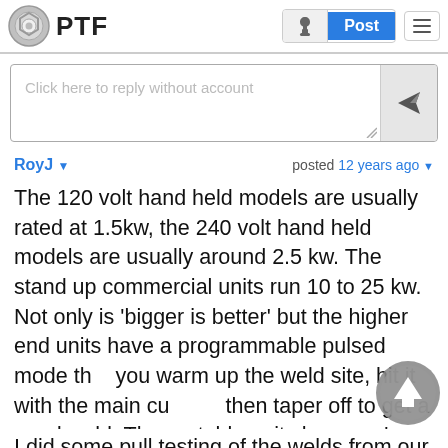PTF — Post
Click here to reply without account
RoyJ ▾     posted 12 years ago ▾
The 120 volt hand held models are usually rated at 1.5kw, the 240 volt hand held models are usually around 2.5 kw. The stand up commercial units run 10 to 25 kw. Not only is 'bigger is better' but the higher end units have a programmable pulsed mode that you warm up the weld site, hit it with the main current, then taper off to get a good weld. The portable units have an 'on-off' and that's it.
I did some pull testing of the welds from our 120 portable unit. Doing a single weld on 18 ga 1/2" wide...